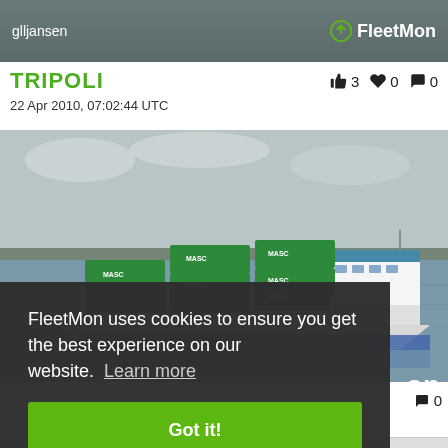glljansen  FleetMon
TRIPOLI
👍 3  ❤ 0  💬 0
22 Apr 2010, 07:02:44 UTC
[Figure (photo): Cargo ship named TRIPOLI carrying green MASC containers, photographed on a river with flat landscape in background. The ship is white-hulled carrying multiple stacked green shipping containers labeled MASC.]
FleetMon uses cookies to ensure you get the best experience on our website. Learn more
Got it!
💬 0